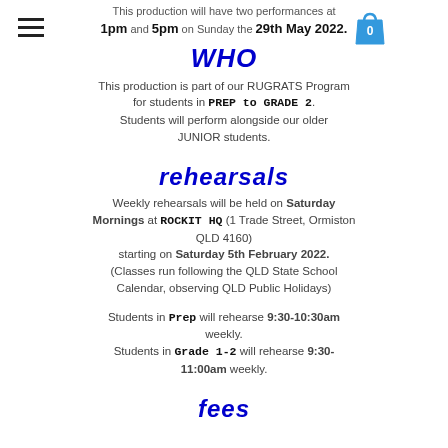This production will have two performances at 1pm and 5pm on Sunday the 29th May 2022.
WHO
This production is part of our RUGRATS Program for students in PREP to GRADE 2. Students will perform alongside our older JUNIOR students.
rehearsals
Weekly rehearsals will be held on Saturday Mornings at ROCKIT HQ (1 Trade Street, Ormiston QLD 4160) starting on Saturday 5th February 2022. (Classes run following the QLD State School Calendar, observing QLD Public Holidays)
Students in Prep will rehearse 9:30-10:30am weekly. Students in Grade 1-2 will rehearse 9:30-11:00am weekly.
fees